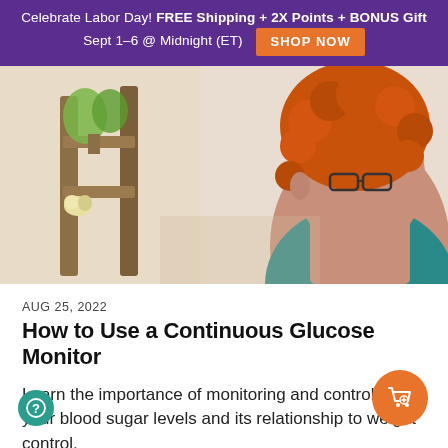Celebrate Labor Day! FREE Shipping + 2X Points + BONUS Gift Sept 1–6 @ Midnight (ET) SHOP NOW
[Figure (photo): Woman with bright orange curly hair and glasses wearing a teal top, sitting at a table, photographed from the side/back in a warm indoor setting with plants and wooden furniture.]
AUG 25, 2022
How to Use a Continuous Glucose Monitor
Learn the importance of monitoring and controlling your blood sugar levels and its relationship to weight control.
READ MORE